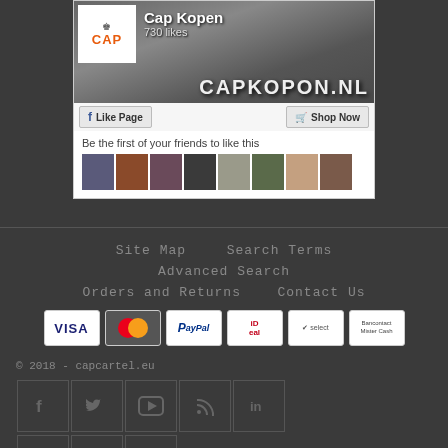[Figure (screenshot): Facebook page widget for 'Cap Kopen' with 730 likes, showing a cover photo with a person wearing a cap and text 'CAPKOPON.NL', with Like Page and Shop Now buttons, and a row of friend profile photos below.]
Site Map   Search Terms
Advanced Search
Orders and Returns   Contact Us
[Figure (infographic): Payment method icons: VISA, Mastercard, PayPal, iDeal, select, Bancontact/Mister Cash]
© 2018 - capcartel.eu
[Figure (infographic): Social media icons in dark square buttons: Facebook, Twitter, YouTube, RSS, LinkedIn (top row), Flickr, Email, Instagram (bottom row)]